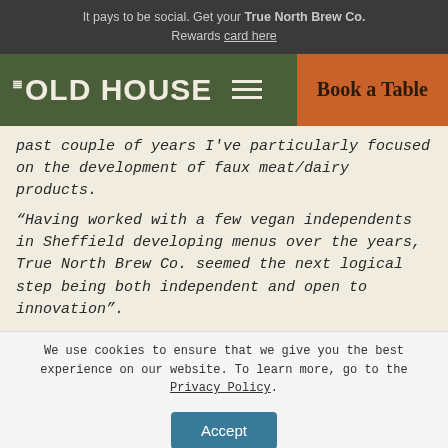It pays to be social. Get your True North Brew Co. Rewards card here
[Figure (screenshot): The Old House pub/restaurant logo and navigation bar with hamburger menu and Book a Table button]
past couple of years I've particularly focused on the development of faux meat/dairy products.
“Having worked with a few vegan independents in Sheffield developing menus over the years, True North Brew Co. seemed the next logical step being both independent and open to innovation”.
We use cookies to ensure that we give you the best experience on our website. To learn more, go to the Privacy Policy.
Accept